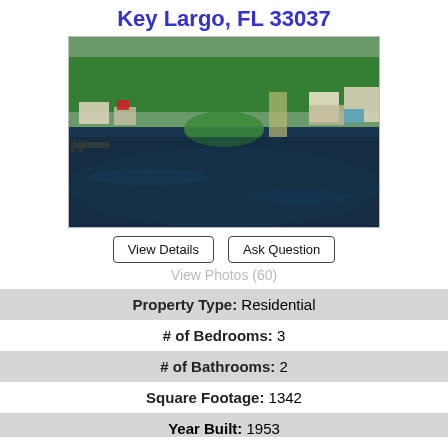Key Largo, FL 33037
[Figure (photo): Aerial view of waterfront property in Key Largo, FL showing dark water, green trees, and several buildings along the shoreline.]
View Details | Ask Question
View Photos (60)
| Property Type: | Residential |
| # of Bedrooms: | 3 |
| # of Bathrooms: | 2 |
| Square Footage: | 1342 |
| Year Built: | 1953 |